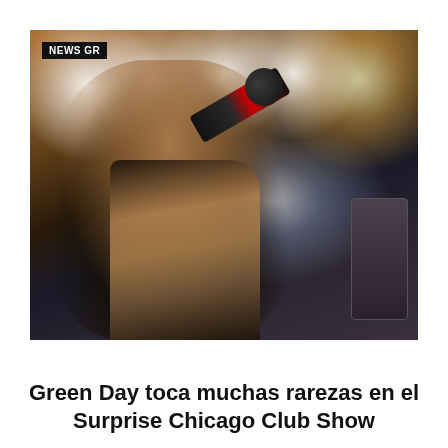[Figure (photo): Concert photo of a male singer (Billie Joe Armstrong of Green Day) holding a microphone close to his mouth, wearing a black jacket, with tattooed arm visible. Stage lights visible in the background. A 'NEWS GR' badge overlays the top-left corner of the image.]
Green Day toca muchas rarezas en el Surprise Chicago Club Show